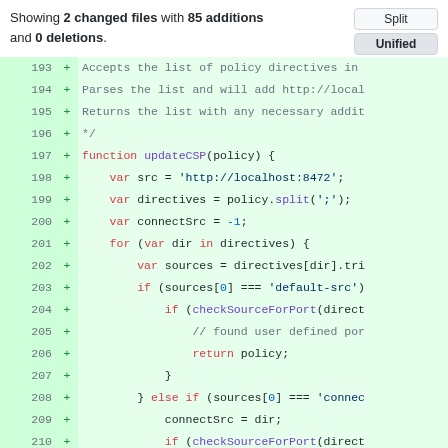Showing 2 changed files with 85 additions and 0 deletions.
[Figure (screenshot): GitHub diff view showing added lines 193-211 of JavaScript code including updateCSP function]
Split / Unified buttons